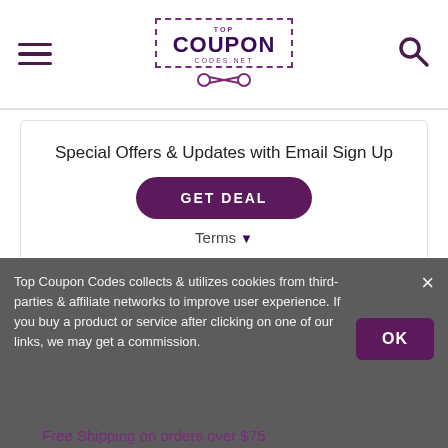Top Coupon Codes - Navigation header with logo and search
Special Offers & Updates with Email Sign Up
GET DEAL
Terms
Sports Bras as low as $62
GET DEAL
Top Coupon Codes collects & utilizes cookies from third-parties & affiliate networks to improve user experience. If you buy a product or service after clicking on one of our links, we may get a commission.
Free Shipping on orders over $75